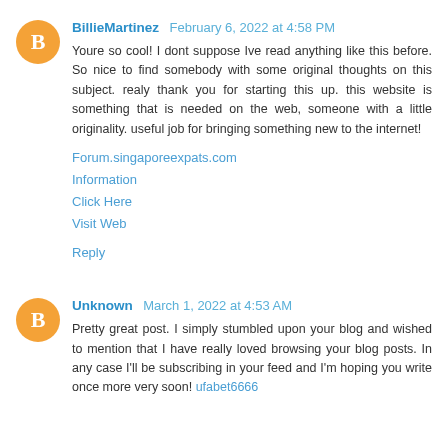BillieMartinez  February 6, 2022 at 4:58 PM
Youre so cool! I dont suppose Ive read anything like this before. So nice to find somebody with some original thoughts on this subject. realy thank you for starting this up. this website is something that is needed on the web, someone with a little originality. useful job for bringing something new to the internet!
Forum.singaporeexpats.com
Information
Click Here
Visit Web
Reply
Unknown  March 1, 2022 at 4:53 AM
Pretty great post. I simply stumbled upon your blog and wished to mention that I have really loved browsing your blog posts. In any case I'll be subscribing in your feed and I'm hoping you write once more very soon! ufabet6666